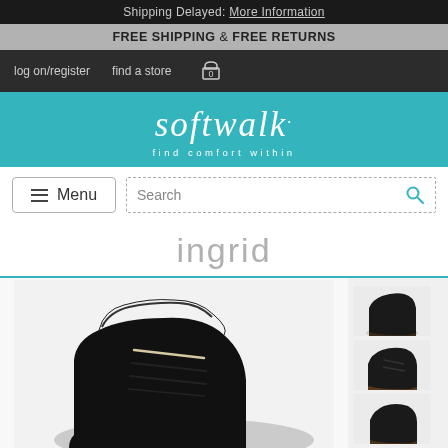Shipping Delayed: More Information
FREE SHIPPING & FREE RETURNS
log on/register   find a store   0
[Figure (logo): Softwalk brand logo with tagline 'find comfort within' on teal background]
Menu   Search
ingrid
[Figure (photo): Main product photo of a black leather lace-up ankle boot (Softwalk Ingrid), with three smaller thumbnail views on the right side showing different angles of the same boot]